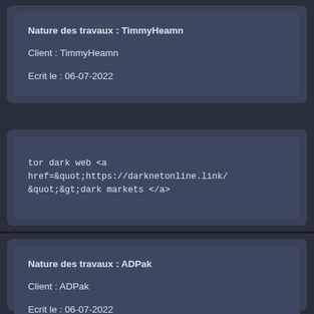Nature des travaux : TimmyHeamn
Client : TimmyHeamn
Ecrit le : 06-07-2022
tor dark web <a href="https://darknetonline.link/ ">dark markets </a>
Nature des travaux : ADPak
Client : ADPak
Ecrit le : 06-07-2022